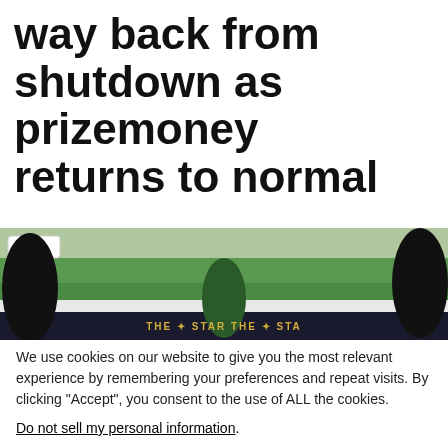way back from shutdown as prizemoney returns to normal
[Figure (photo): Horse racing track photograph showing a TAB-sponsored event with 'THE STAR' branding on barriers, a crowd in the background with green turf visible, and dark silhouettes of spectators in foreground.]
We use cookies on our website to give you the most relevant experience by remembering your preferences and repeat visits. By clicking “Accept”, you consent to the use of ALL the cookies.
Do not sell my personal information.
Cookie Settings   Accept